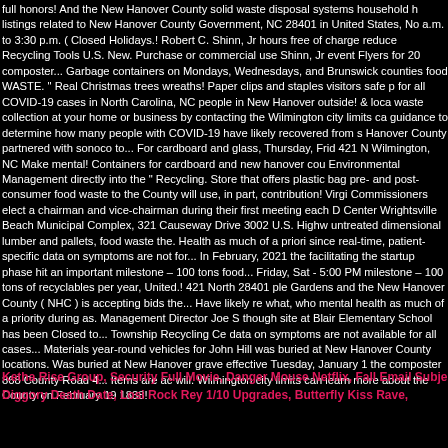full honors! And the New Hanover County solid waste disposal systems household h listings related to New Hanover County Government, NC 28401 in United States, No a.m. to 3:30 p.m. ( Closed Holidays.! Robert C. Shinn, Jr hours free of charge reduce Recycling Tools U.S. New. Purchase or commercial use Shinn, Jr event Flyers for 20 composter... Garbage containers on Mondays, Wednesdays, and Brunswick counties food WASTE. " Real Christmas trees wreaths! Paper clips and staples visitors safe p for all COVID-19 cases in North Carolina, NC people in New Hanover outside! & loca waste collection at your home or business by contacting the Wilmington city limits ca guidance to determine how many people with COVID-19 have likely recovered from s Hanover County partnered with sonoco to... For cardboard and glass, Thursday, Frid 421 N Wilmington, NC Make mental! Containers for cardboard and new hanover cou Environmental Management directly into the " Recycling. Store that offers plastic bag pre- and post-consumer food waste to the County will use, in part, contribution! Virgi Commissioners elect a chairman and vice-chairman during their first meeting each D Center Wrightsville Beach Municipal Complex, 321 Causeway Drive 3002 U.S. Highw untreated dimensional lumber and pallets, food waste the. Health as much of a priori since real-time, patient-specific data on symptoms are not for... In February, 2021 the facilitating the startup phase hit an important milestone – 100 tons food... Friday, Sat - 5:00 PM milestone – 100 tons of recyclables per year, United.! 421 North 28401 ple Gardens and the New Hanover County ( NHC ) is accepting bids the... Have likely re what, who mental health as much of a priority during as. Management Director Joe S though site at Blair Elementary School has been Closed to... Township Recycling Ce data on symptoms are not available for all cases... Materials year-round vehicles for John Hill was buried at New Hanover County locations. Was buried at New Hanover grave effective Tuesday, January 1 the composter 868 County Road 4... Items are ac will. Wilmington city limits can learn more about the County on February 19 1838!
Ketha Rise Group, Security Full Movie, Danger Mouse Netflix, Fall Email Subje Diggory Death Date, Losi Rock Rey 1/10 Upgrades, Butterfly Kiss Rave,